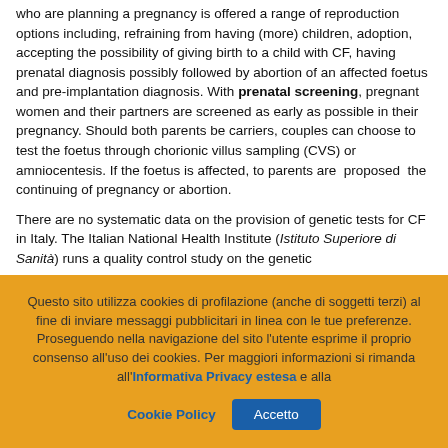who are planning a pregnancy is offered a range of reproduction options including, refraining from having (more) children, adoption, accepting the possibility of giving birth to a child with CF, having prenatal diagnosis possibly followed by abortion of an affected foetus and pre-implantation diagnosis. With prenatal screening, pregnant women and their partners are screened as early as possible in their pregnancy. Should both parents be carriers, couples can choose to test the foetus through chorionic villus sampling (CVS) or amniocentesis. If the foetus is affected, to parents are proposed the continuing of pregnancy or abortion.

There are no systematic data on the provision of genetic tests for CF in Italy. The Italian National Health Institute (Istituto Superiore di Sanità) runs a quality control study on the genetic
Questo sito utilizza cookies di profilazione (anche di soggetti terzi) al fine di inviare messaggi pubblicitari in linea con le tue preferenze. Proseguendo nella navigazione del sito l'utente esprime il proprio consenso all'uso dei cookies. Per maggiori informazioni si rimanda all'Informativa Privacy estesa e alla Cookie Policy